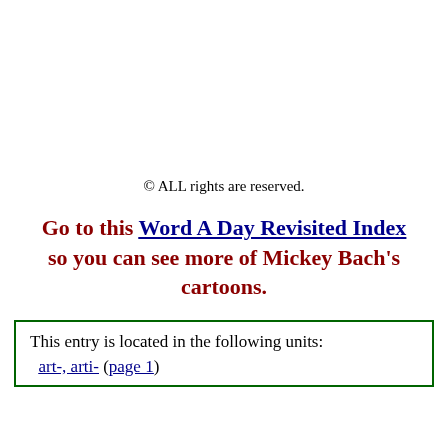© ALL rights are reserved.
Go to this Word A Day Revisited Index so you can see more of Mickey Bach's cartoons.
This entry is located in the following units: art-, arti- (page 1)